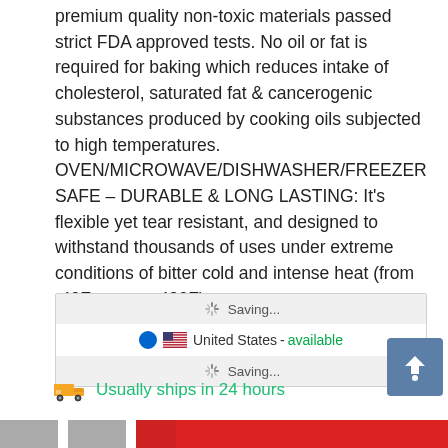premium quality non-toxic materials passed strict FDA approved tests. No oil or fat is required for baking which reduces intake of cholesterol, saturated fat & cancerogenic substances produced by cooking oils subjected to high temperatures. OVEN/MICROWAVE/DISHWASHER/FREEZER SAFE – DURABLE & LONG LASTING: It's flexible yet tear resistant, and designed to withstand thousands of uses under extreme conditions of bitter cold and intense heat (from -40F to up to 480F).
[Figure (screenshot): A UI widget showing shipping/availability options: two 'Saving...' spinner rows and one 'United States - available' row with a US flag and radio button selected.]
Usually ships in 24 hours